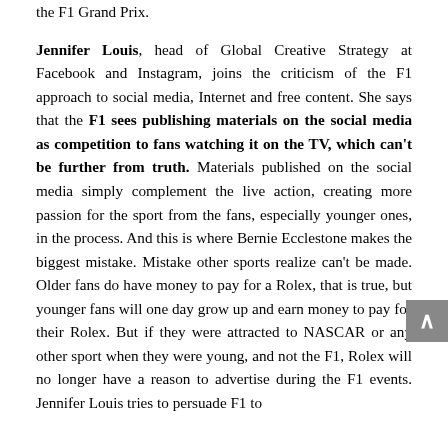the F1 Grand Prix.

Jennifer Louis, head of Global Creative Strategy at Facebook and Instagram, joins the criticism of the F1 approach to social media, Internet and free content. She says that the F1 sees publishing materials on the social media as competition to fans watching it on the TV, which can't be further from truth. Materials published on the social media simply complement the live action, creating more passion for the sport from the fans, especially younger ones, in the process. And this is where Bernie Ecclestone makes the biggest mistake. Mistake other sports realize can't be made. Older fans do have money to pay for a Rolex, that is true, but younger fans will one day grow up and earn money to pay for their Rolex. But if they were attracted to NASCAR or any other sport when they were young, and not the F1, Rolex will no longer have a reason to advertise during the F1 events. Jennifer Louis tries to persuade F1 to